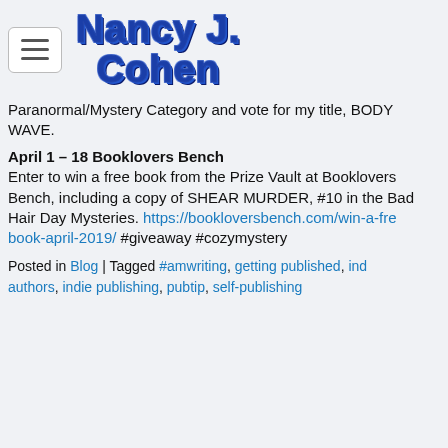Nancy J. Cohen
Paranormal/Mystery Category and vote for my title, BODY WAVE.
April 1 – 18 Booklovers Bench
Enter to win a free book from the Prize Vault at Booklovers Bench, including a copy of SHEAR MURDER, #10 in the Bad Hair Day Mysteries. https://bookloversbench.com/win-a-free-book-april-2019/ #giveaway #cozymystery
Posted in Blog | Tagged #amwriting, getting published, indie authors, indie publishing, pubtip, self-publishing